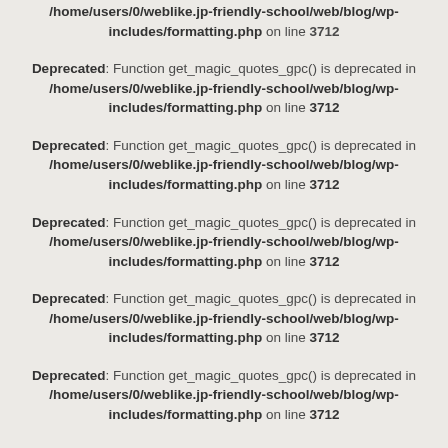includes/formatting.php on line 3712
Deprecated: Function get_magic_quotes_gpc() is deprecated in /home/users/0/weblike.jp-friendly-school/web/blog/wp-includes/formatting.php on line 3712
Deprecated: Function get_magic_quotes_gpc() is deprecated in /home/users/0/weblike.jp-friendly-school/web/blog/wp-includes/formatting.php on line 3712
Deprecated: Function get_magic_quotes_gpc() is deprecated in /home/users/0/weblike.jp-friendly-school/web/blog/wp-includes/formatting.php on line 3712
Deprecated: Function get_magic_quotes_gpc() is deprecated in /home/users/0/weblike.jp-friendly-school/web/blog/wp-includes/formatting.php on line 3712
Deprecated: Function get_magic_quotes_gpc() is deprecated in /home/users/0/weblike.jp-friendly-school/web/blog/wp-includes/formatting.php on line 3712
Deprecated: Function get_magic_quotes_gpc() is deprecated in /home/users/0/weblike.jp-friendly-school/web/blog/wp-includes/formatting.php on line 3712
Deprecated: Function get_magic_quotes_gpc() is deprecated in